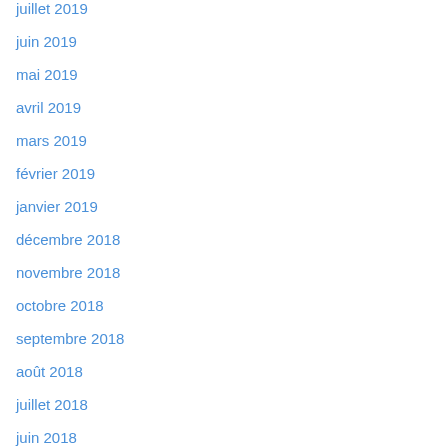juillet 2019
juin 2019
mai 2019
avril 2019
mars 2019
février 2019
janvier 2019
décembre 2018
novembre 2018
octobre 2018
septembre 2018
août 2018
juillet 2018
juin 2018